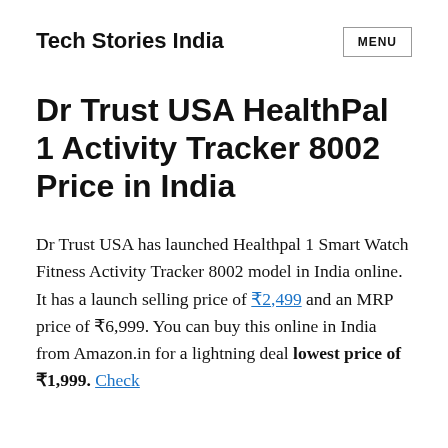Tech Stories India
Dr Trust USA HealthPal 1 Activity Tracker 8002 Price in India
Dr Trust USA has launched Healthpal 1 Smart Watch Fitness Activity Tracker 8002 model in India online. It has a launch selling price of ₹2,499 and an MRP price of ₹6,999. You can buy this online in India from Amazon.in for a lightning deal lowest price of ₹1,999. Check